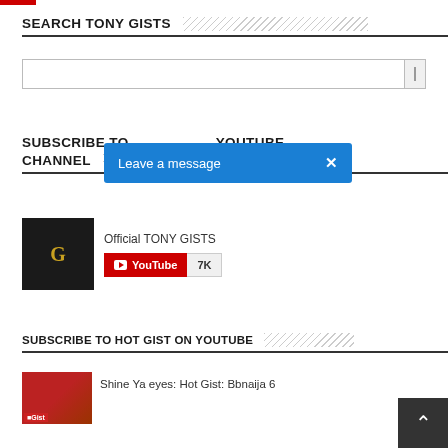SEARCH TONY GISTS
[Figure (screenshot): Search box input field with button]
SUBSCRIBE TO YOUTUBE CHANNEL
[Figure (infographic): Blue 'Leave a message' dialog overlay with X close button]
[Figure (infographic): Official TONY GISTS YouTube channel subscription widget showing 7K subscribers]
SUBSCRIBE TO HOT GIST ON YOUTUBE
Shine Ya eyes: Hot Gist: Bbnaija 6